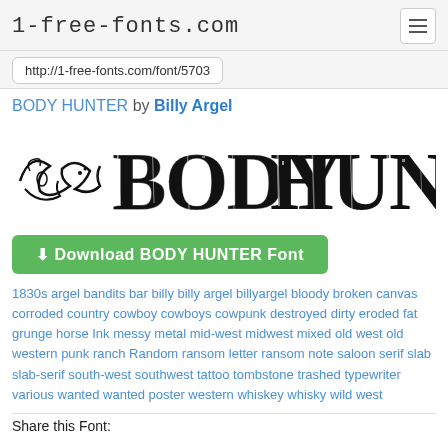1-free-fonts.com
http://1-free-fonts.com/font/5703
BODY HUNTER by Billy Argel
[Figure (illustration): Large decorative font preview showing BODY HUNTER text in a distressed western/slab-serif style with ornamental swirls on the left]
Download BODY HUNTER Font
1830s argel bandits bar billy billy argel billyargel bloody broken canvas corroded country cowboy cowboys cowpunk destroyed dirty eroded fat grunge horse Ink messy metal mid-west midwest mixed old west old western punk ranch Random ransom letter ransom note saloon serif slab slab-serif south-west southwest tattoo tombstone trashed typewriter various wanted wanted poster western whiskey whisky wild west
Share this Font: